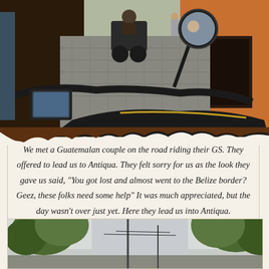[Figure (photo): View from motorcycle rider's perspective on a narrow cobblestone alley in Antigua, Guatemala. Another motorcycle is visible ahead, a pedestrian walks in the background, colorful walls on either side, motorcycle handlebar, mirror, and GPS device visible in foreground.]
We met a Guatemalan couple on the road riding their GS. They offered to lead us to Antiqua. They felt sorry for us as the look they gave us said, “You got lost and almost went to the Belize border? Geez, these folks need some help” It was much appreciated, but the day wasn’t over just yet. Here they lead us into Antiqua.
[Figure (photo): View looking up at tall trees with lush green foliage against a grey-white overcast sky, taken from a street in Antigua, Guatemala.]